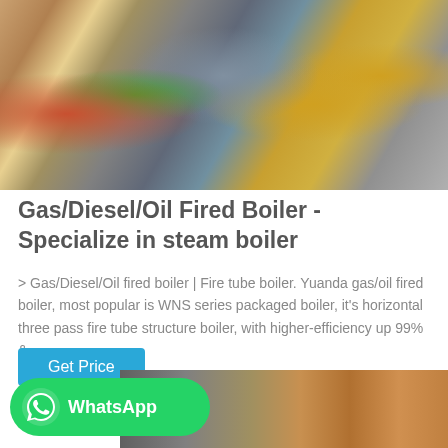[Figure (photo): Industrial boiler equipment on display, showing multiple boiler units with yellow and gray piping, green circular component, and various industrial machinery parts]
Gas/Diesel/Oil Fired Boiler - Specialize in steam boiler
> Gas/Diesel/Oil fired boiler | Fire tube boiler. Yuanda gas/oil fired boiler, most popular is WNS series packaged boiler, it's horizontal three pass fire tube structure boiler, with higher-efficiency up 99% &...
[Figure (other): Get Price button - blue rectangular button]
[Figure (logo): WhatsApp green badge with WhatsApp logo icon and text 'WhatsApp']
[Figure (photo): Industrial boiler installation interior showing pipes and equipment in gray and copper/bronze tones]